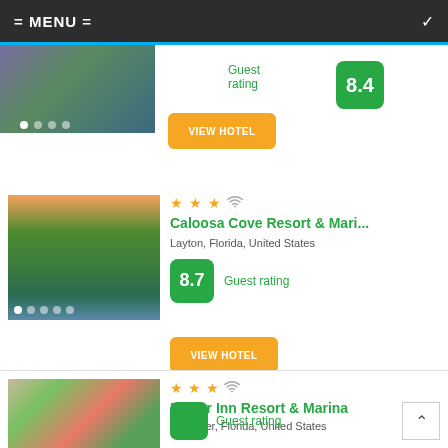= MENU =
[Figure (photo): Partial hotel card image - colorful floral/aerial pattern]
8.4 Guest rating
VIEW HOTEL
[Figure (photo): Aerial view of Caloosa Cove Resort & Marina with water and marina]
★★★ WiFi  Caloosa Cove Resort & Mari...
Layton, Florida, United States
8.7 Guest rating
VIEW HOTEL
[Figure (photo): Hotel room with floral bedding - Fisher Inn Resort & Marina]
★★★ WiFi  Fisher Inn Resort & Marina
Tavernier, Florida, United States
Guest rating